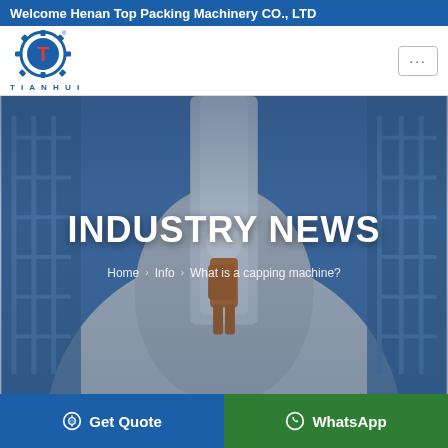Welcome Henan Top Packing Machinery CO., LTD
[Figure (logo): Tianhui gear logo with T letter in red and blue circle with gear teeth, text TIANHUI below]
[Figure (photo): Industrial machinery / worker in orange uniform climbing large white industrial equipment against blue-tinted background with metal scaffolding]
INDUSTRY NEWS
Home > Info > What is a capping machine?
Get Quote | WhatsApp